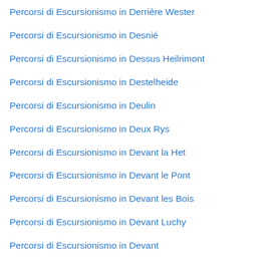Percorsi di Escursionismo in Derrière Wester
Percorsi di Escursionismo in Desnié
Percorsi di Escursionismo in Dessus Heilrimont
Percorsi di Escursionismo in Destelheide
Percorsi di Escursionismo in Deulin
Percorsi di Escursionismo in Deux Rys
Percorsi di Escursionismo in Devant la Het
Percorsi di Escursionismo in Devant le Pont
Percorsi di Escursionismo in Devant les Bois
Percorsi di Escursionismo in Devant Luchy
Percorsi di Escursionismo in Devant